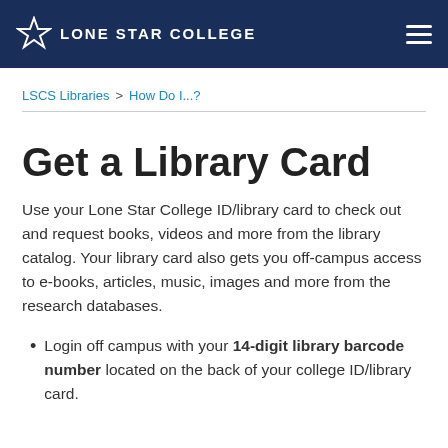Lone Star College
LSCS Libraries > How Do I...?
Get a Library Card
Use your Lone Star College ID/library card to check out and request books, videos and more from the library catalog. Your library card also gets you off-campus access to e-books, articles, music, images and more from the research databases.
Login off campus with your 14-digit library barcode number located on the back of your college ID/library card.